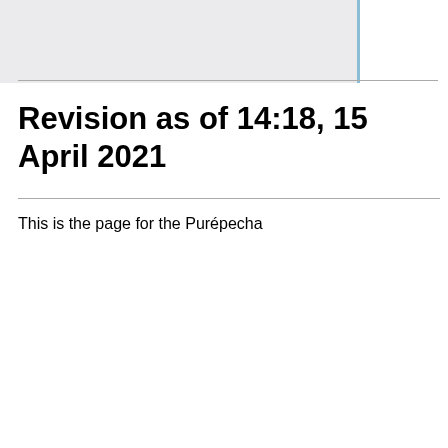page [https://wikis.swarthmore.edu/ling073/Pur%C3%A9pecha/Transducer]
|  |  |
|  |  |
|  |  |
| [[Category:Purépecha]] [[Category:sp21_ResourceDocumentation]] | [[Category:Purépecha]] [[Category:sp21_ResourceDocumentation]] |
Revision as of 14:18, 15 April 2021
This is the page for the Purépecha